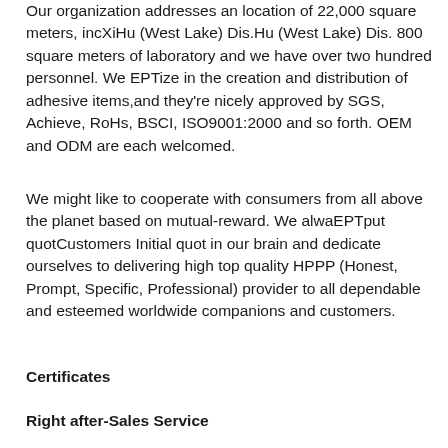Our organization addresses an location of 22,000 square meters, incXiHu (West Lake) Dis.Hu (West Lake) Dis. 800 square meters of laboratory and we have over two hundred personnel. We EPTize in the creation and distribution of adhesive items,and they're nicely approved by SGS, Achieve, RoHs, BSCI, ISO9001:2000 and so forth. OEM and ODM are each welcomed.
We might like to cooperate with consumers from all above the planet based on mutual-reward. We alwaEPTput quotCustomers Initial quot in our brain and dedicate ourselves to delivering high top quality HPPP (Honest, Prompt, Specific, Professional) provider to all dependable and esteemed worldwide companions and customers.
Certificates
Right after-Sales Service